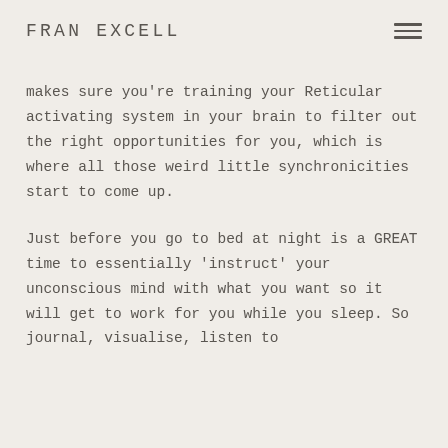FRAN EXCELL
makes sure you're training your Reticular activating system in your brain to filter out the right opportunities for you, which is where all those weird little synchronicities start to come up.
Just before you go to bed at night is a GREAT time to essentially 'instruct' your unconscious mind with what you want so it will get to work for you while you sleep. So journal, visualise, listen to